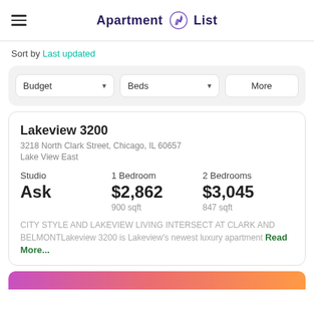Apartment List
Sort by Last updated
Budget ▾  Beds ▾  More
Lakeview 3200
3218 North Clark Street, Chicago, IL 60657
Lake View East
| Studio | 1 Bedroom | 2 Bedrooms |
| --- | --- | --- |
| Ask | $2,862 | $3,045 |
|  | 900 sqft | 847 sqft |
CITY STYLE AND LAKEVIEW LIVING INTERSECT AT CLARK AND BELMONTLakeview 3200 is Lakeview's newest luxury apartment Read More...